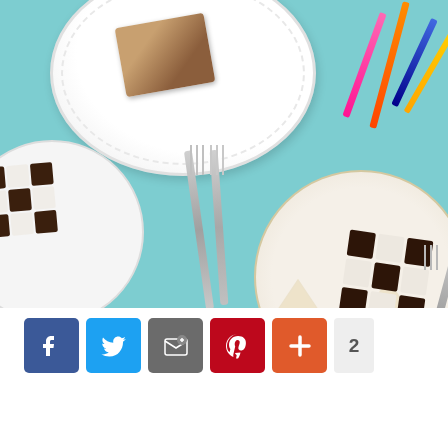[Figure (photo): Top-down view of birthday cake slices on decorative plates on a teal background. Left plate shows a checkered chocolate-and-white cake slice. Right plate shows a similar checkered slice on a gold-patterned plate. Top center shows the main white frosted cake on a scalloped white plate. Colorful birthday candles (pink, orange, blue, yellow) are visible top right. Two silver forks lay in the center, another fork on the right.]
[Figure (infographic): Social sharing button bar with Facebook (blue), Twitter (light blue), Email/Share (gray), Pinterest (red), More/Plus (orange-red) buttons, and a count badge showing '2'.]